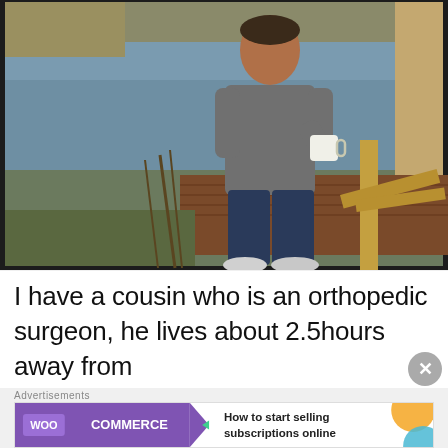[Figure (photo): A man standing on a wooden dock or deck near a lake or pond, holding a coffee mug, wearing a gray t-shirt and dark jeans with white sneakers. There are reeds/cattails in the background and a wooden frame structure to the right.]
I have a cousin who is an orthopedic surgeon, he lives about 2.5hours away from
[Figure (logo): WooCommerce advertisement banner. Purple background on left with 'WOO COMMERCE' logo text in white, a green arrow pointing left, and on the right side text reading 'How to start selling subscriptions online' with orange and blue decorative shapes.]